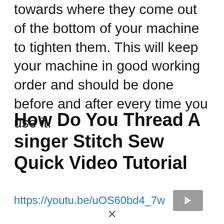towards where they come out of the bottom of your machine to tighten them. This will keep your machine in good working order and should be done before and after every time you use it.
How Do You Thread A singer Stitch Sew Quick Video Tutorial
https://youtu.be/uOS60bd4_7w